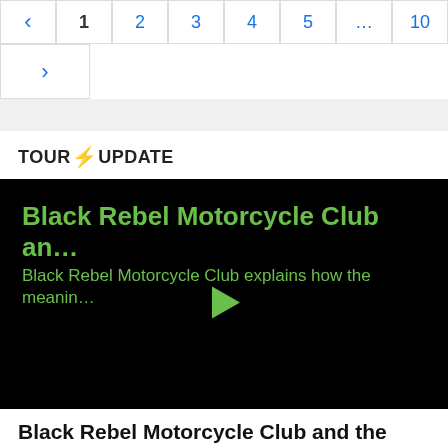< 1 2 3 4 5 ... 10 >
[Figure (screenshot): Pagination controls with back arrow, page numbers 1-5, ellipsis, page 10, and forward arrow.]
TOUR⚡UPDATE
[Figure (screenshot): Video thumbnail with black background showing 'Black Rebel Motorcycle Club an...' title and subtitle 'Black Rebel Motorcycle Club explains how the meanin...' in green text, with a green play button triangle in the center.]
Black Rebel Motorcycle Club and the Evolution